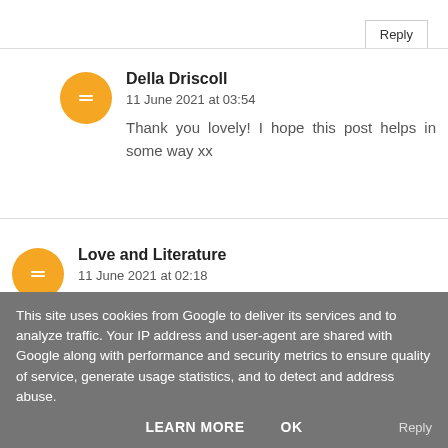Reply
Della Driscoll
11 June 2021 at 03:54
Thank you lovely! I hope this post helps in some way xx
Love and Literature
11 June 2021 at 02:18
This is such a helpful post! I completely agree with 'Understand why if they cancel last minute', as I
This site uses cookies from Google to deliver its services and to analyze traffic. Your IP address and user-agent are shared with Google along with performance and security metrics to ensure quality of service, generate usage statistics, and to detect and address abuse.
LEARN MORE
OK
Reply